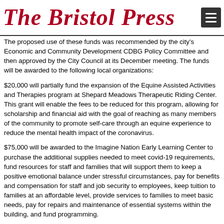The Bristol Press
The proposed use of these funds was recommended by the city's Economic and Community Development CDBG Policy Committee and then approved by the City Council at its December meeting. The funds will be awarded to the following local organizations:
$20,000 will partially fund the expansion of the Equine Assisted Activities and Therapies program at Shepard Meadows Therapeutic Riding Center. This grant will enable the fees to be reduced for this program, allowing for scholarship and financial aid with the goal of reaching as many members of the community to promote self-care through an equine experience to reduce the mental health impact of the coronavirus.
$75,000 will be awarded to the Imagine Nation Early Learning Center to purchase the additional supplies needed to meet covid-19 requirements, fund resources for staff and families that will support them to keep a positive emotional balance under stressful circumstances, pay for benefits and compensation for staff and job security to employees, keep tuition to families at an affordable level, provide services to families to meet basic needs, pay for repairs and maintenance of essential systems within the building, and fund programming.
$10,293 to the United Way of West Central Connecticut to respond to and coordinate the local agencies' responses related to homelessness.